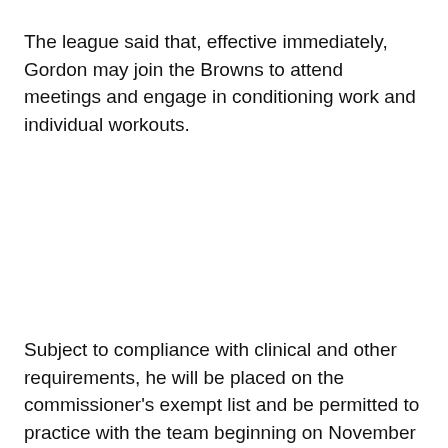The league said that, effective immediately, Gordon may join the Browns to attend meetings and engage in conditioning work and individual workouts.
Subject to compliance with clinical and other requirements, he will be placed on the commissioner's exempt list and be permitted to practice with the team beginning on November